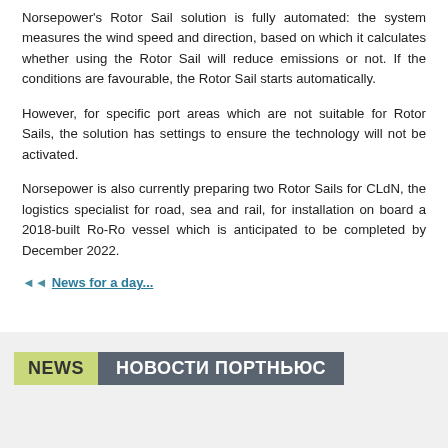Norsepower's Rotor Sail solution is fully automated: the system measures the wind speed and direction, based on which it calculates whether using the Rotor Sail will reduce emissions or not. If the conditions are favourable, the Rotor Sail starts automatically.
However, for specific port areas which are not suitable for Rotor Sails, the solution has settings to ensure the technology will not be activated.
Norsepower is also currently preparing two Rotor Sails for CLdN, the logistics specialist for road, sea and rail, for installation on board a 2018-built Ro-Ro vessel which is anticipated to be completed by December 2022.
◄◄  News for a day...
NEWS   НОВОСТИ ПОРТНЬЮС